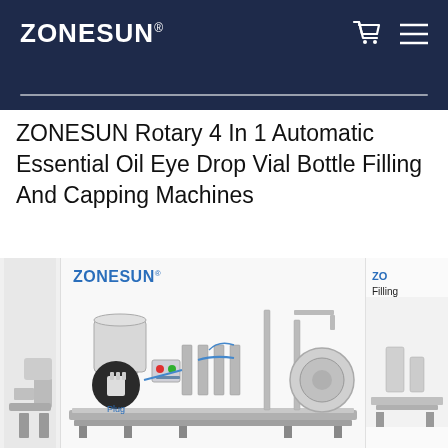ZONESUN®
ZONESUN Rotary 4 In 1 Automatic Essential Oil Eye Drop Vial Bottle Filling And Capping Machines
[Figure (photo): Product image carousel showing a ZONESUN rotary 4-in-1 automatic filling and capping machine. The main image shows the full machine with a hopper, filling heads, conveyor belt, and capping station. Left side shows a partial view. Right side shows another product image partially visible with ZONESUN logo and 'Filling' text.]